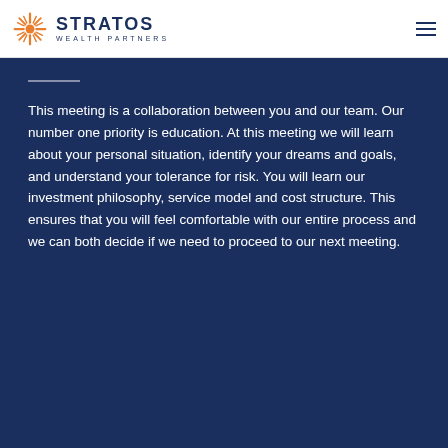[Figure (logo): Stratos Wealth Partners logo with sunburst icon and company name]
This meeting is a collaboration between you and our team. Our number one priority is education. At this meeting we will learn about your personal situation, identify your dreams and goals, and understand your tolerance for risk. You will learn our investment philosophy, service model and cost structure. This ensures that you will feel comfortable with our entire process and we can both decide if we need to proceed to our next meeting.